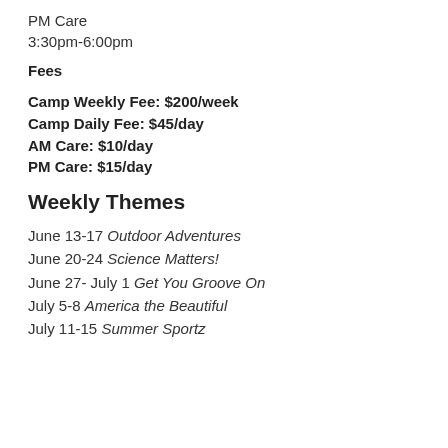PM Care
3:30pm-6:00pm
Fees
Camp Weekly Fee: $200/week
Camp Daily Fee: $45/day
AM Care: $10/day
PM Care: $15/day
Weekly Themes
June 13-17 Outdoor Adventures
June 20-24 Science Matters!
June 27- July 1 Get You Groove On
July 5-8 America the Beautiful
July 11-15 Summer Sportz